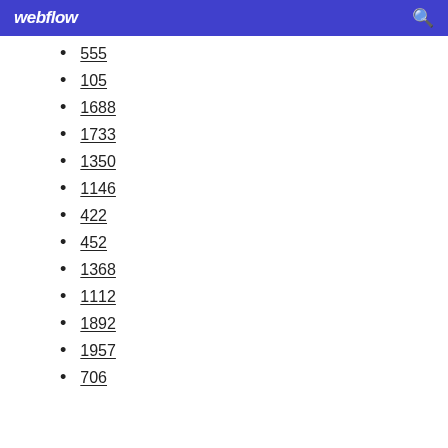webflow
555
105
1688
1733
1350
1146
422
452
1368
1112
1892
1957
706